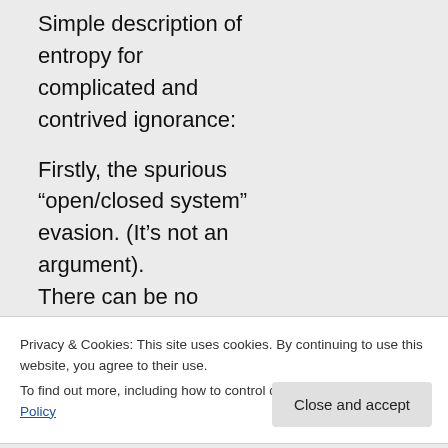Simple description of entropy for complicated and contrived ignorance:

Firstly, the spurious “open/closed system” evasion. (It’s not an argument).
There can be no such thing as a
Privacy & Cookies: This site uses cookies. By continuing to use this website, you agree to their use.
To find out more, including how to control cookies, see here: Cookie Policy
systems is itself a